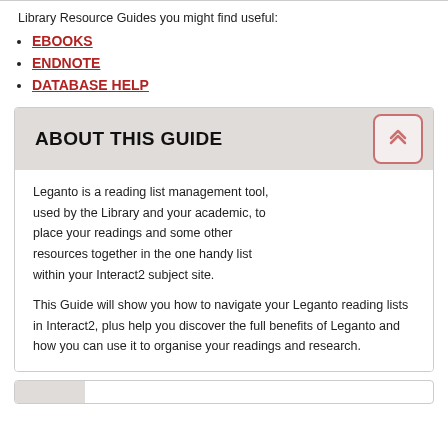Library Resource Guides you might find useful:
EBOOKS
ENDNOTE
DATABASE HELP
ABOUT THIS GUIDE
Leganto is a reading list management tool, used by the Library and your academic, to place your readings and some other resources together in the one handy list within your Interact2 subject site.
This Guide will show you how to navigate your Leganto reading lists in Interact2, plus help you discover the full benefits of Leganto and how you can use it to organise your readings and research.